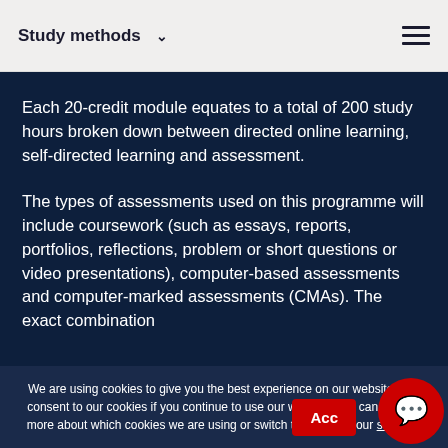Study methods
Each 20-credit module equates to a total of 200 study hours broken down between directed online learning, self-directed learning and assessment.
The types of assessments used on this programme will include coursework (such as essays, reports, portfolios, reflections, problem or short questions or video presentations), computer-based assessments and computer-marked assessments (CMAs). The exact combination of
We are using cookies to give you the best experience on our website. You consent to our cookies if you continue to use our website. You can find out more about which cookies we are using or switch them off in your settings.